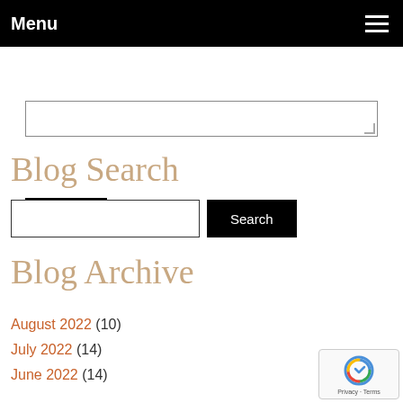Menu
[textarea input field]
Submit
Blog Search
[search input field] Search
Blog Archive
August 2022 (10)
July 2022 (14)
June 2022 (14)